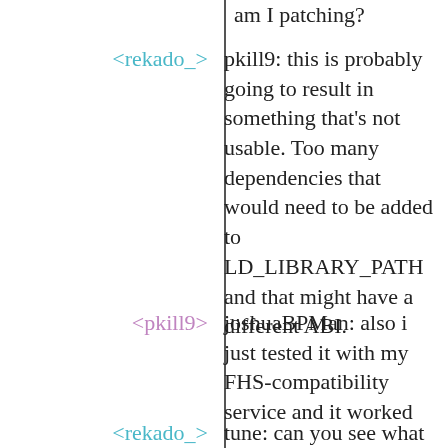am I patching?
<rekado_>: pkill9: this is probably going to result in something that’s not usable. Too many dependencies that would need to be added to LD_LIBRARY_PATH and that might have a different ABI.
<pkill9>: joshuaBPMan: also i just tested it with my FHS-compatibility service and it worked
<rekado_>: tune: can you see what